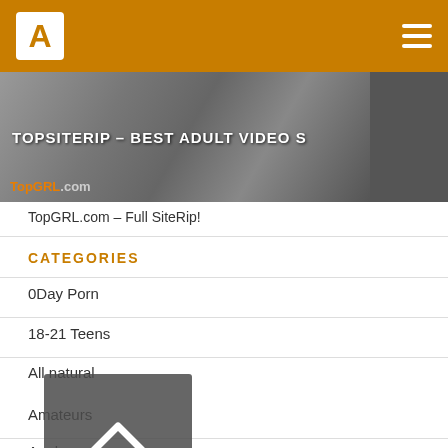A [logo] [hamburger menu]
[Figure (photo): Banner image with text overlay reading TOPSITERIP - BEST ADULT VIDEO S and TopGRL.com logo at bottom left]
TopGRL.com – Full SiteRip!
CATEGORIES
0Day Porn
18-21 Teens
All natural
Amateurs
Anal
Asian